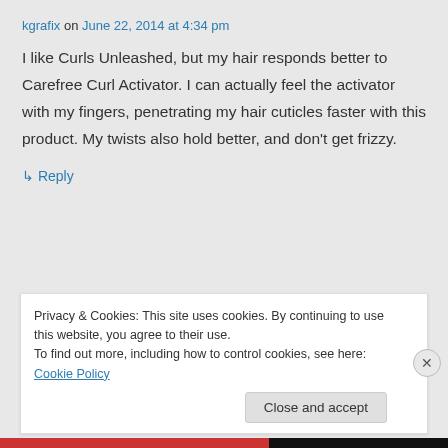kgrafix on June 22, 2014 at 4:34 pm
I like Curls Unleashed, but my hair responds better to Carefree Curl Activator. I can actually feel the activator with my fingers, penetrating my hair cuticles faster with this product. My twists also hold better, and don't get frizzy.
↳ Reply
Privacy & Cookies: This site uses cookies. By continuing to use this website, you agree to their use.
To find out more, including how to control cookies, see here: Cookie Policy
Close and accept